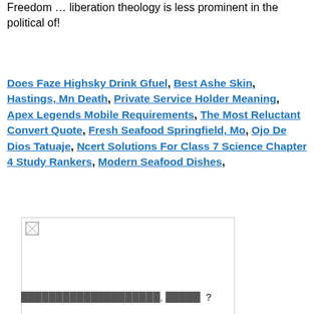Freedom … liberation theology is less prominent in the political of!
Does Faze Highsky Drink Gfuel, Best Ashe Skin, Hastings, Mn Death, Private Service Holder Meaning, Apex Legends Mobile Requirements, The Most Reluctant Convert Quote, Fresh Seafood Springfield, Mo, Ojo De Dios Tatuaje, Ncert Solutions For Class 7 Science Chapter 4 Study Rankers, Modern Seafood Dishes,
[Figure (photo): A placeholder image with broken image icon in top-left corner, large white/empty content area, bordered box]
████████████████████, █████ ?